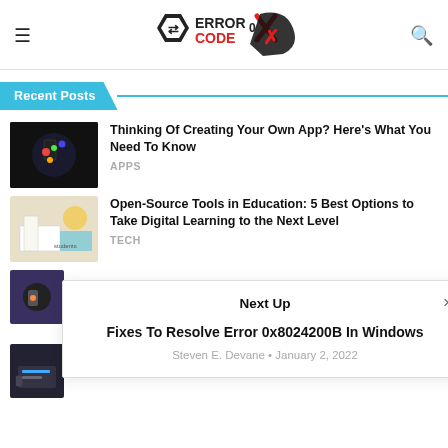Error Code 0x — menu and search icons
Recent Posts
Thinking Of Creating Your Own App? Here's What You Need To Know — APPS
Open-Source Tools in Education: 5 Best Options to Take Digital Learning to the Next Level — TECH
Next Up
Fixes To Resolve Error 0x8024200B In Windows
Steven E. Devane • January 2, 2022